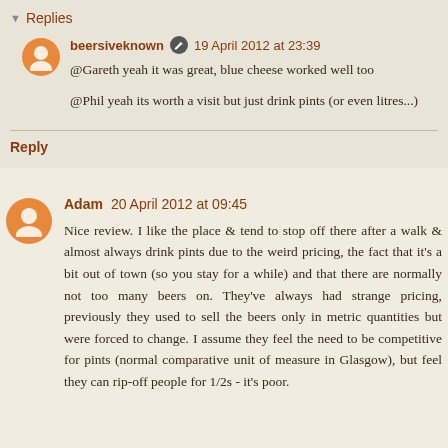Replies
beersiveknown 19 April 2012 at 23:39
@Gareth yeah it was great, blue cheese worked well too

@Phil yeah its worth a visit but just drink pints (or even litres...)
Reply
Adam 20 April 2012 at 09:45
Nice review. I like the place & tend to stop off there after a walk & almost always drink pints due to the weird pricing, the fact that it's a bit out of town (so you stay for a while) and that there are normally not too many beers on. They've always had strange pricing, previously they used to sell the beers only in metric quantities but were forced to change. I assume they feel the need to be competitive for pints (normal comparative unit of measure in Glasgow), but feel they can rip-off people for 1/2s - it's poor.